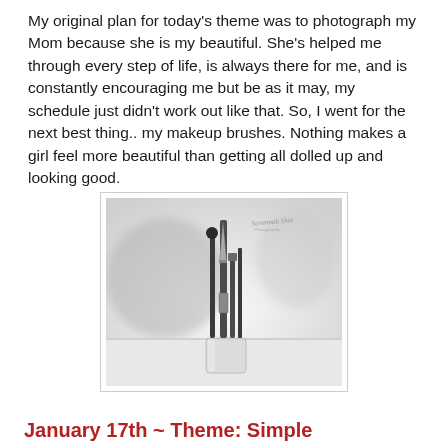My original plan for today's theme was to photograph my Mom because she is my beautiful. She's helped me through every step of life, is always there for me, and is constantly encouraging me but be as it may, my schedule just didn't work out like that. So, I went for the next best thing.. my makeup brushes. Nothing makes a girl feel more beautiful than getting all dolled up and looking good.
[Figure (photo): Black and white photograph of makeup brushes standing upright in a small clear glass cup, with a blurred background.]
January 17th ~ Theme: Simple